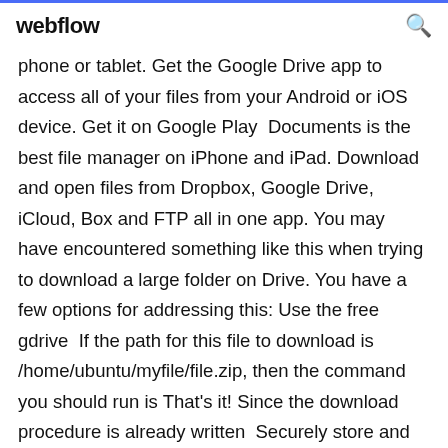webflow
phone or tablet. Get the Google Drive app to access all of your files from your Android or iOS device. Get it on Google Play  Documents is the best file manager on iPhone and iPad. Download and open files from Dropbox, Google Drive, iCloud, Box and FTP all in one app. You may have encountered something like this when trying to download a large folder on Drive. You have a few options for addressing this: Use the free gdrive  If the path for this file to download is /home/ubuntu/myfile/file.zip, then the command you should run is That's it! Since the download procedure is already written  Securely store and share files in the cloud with Google Drive. Avoid multiple